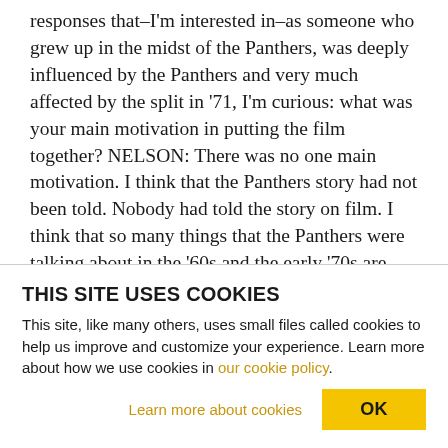responses that–I'm interested in–as someone who grew up in the midst of the Panthers, was deeply influenced by the Panthers and very much affected by the split in '71, I'm curious: what was your main motivation in putting the film together? NELSON: There was no one main motivation. I think that the Panthers story had not been told. Nobody had told the story on film. I think that so many things that the Panthers were talking about in the '60s and the early '70s are things that are still relevant today, so many of the problems–you know, police brutality,
THIS SITE USES COOKIES
This site, like many others, uses small files called cookies to help us improve and customize your experience. Learn more about how we use cookies in our cookie policy.
Learn more about cookies   OK